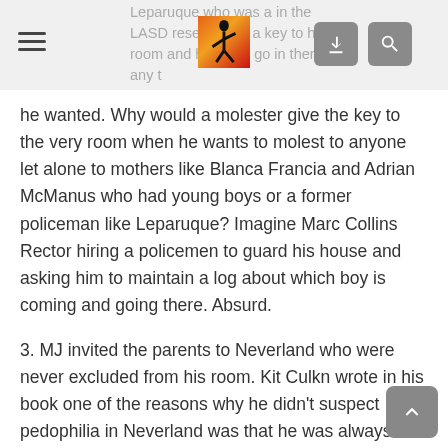Leparuque who was a in the LASD reserve had a key to his room and he could go in there any time
he wanted. Why would a molester give the key to the very room when he wants to molest to anyone let alone to mothers like Blanca Francia and Adrian McManus who had young boys or a former policeman like Leparuque? Imagine Marc Collins Rector hiring a policemen to guard his house and asking him to maintain a log about which boy is coming and going there. Absurd.
3. MJ invited the parents to Neverland who were never excluded from his room. Kit Culkn wrote in his book one of the reasons why he didn't suspect pedophilia in Neverland was that he was always around and one misstep and he would have broken MJ's neck and every other bone in his body. No molester would invite fathers and mothers to the very place where they want to molest their kids especially not hundreds of times!